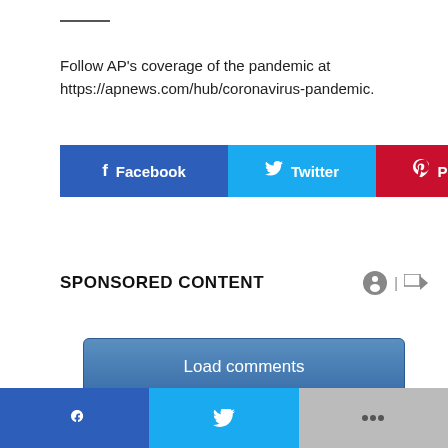Follow AP's coverage of the pandemic at https://apnews.com/hub/coronavirus-pandemic.
[Figure (infographic): Social share buttons row: Facebook (blue), Twitter (cyan), Pinterest (red), Email (gray)]
SPONSORED CONTENT
[Figure (other): Load comments button]
BOOKMARK THE PERMALINK.
Bottom navigation bar with Facebook, Twitter, and more (+) buttons